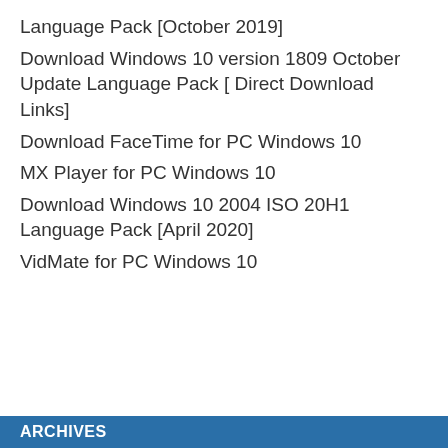Language Pack [October 2019]
Download Windows 10 version 1809 October Update Language Pack [ Direct Download Links]
Download FaceTime for PC Windows 10
MX Player for PC Windows 10
Download Windows 10 2004 ISO 20H1 Language Pack [April 2020]
VidMate for PC Windows 10
ARCHIVES